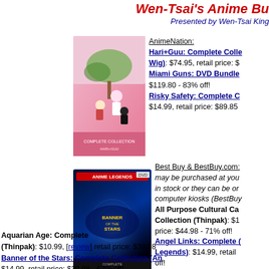Wen-Tsai's Anime Bu - Presented by Wen-Tsai King
[Figure (photo): Anime DVD box set with pink cover featuring anime characters]
AnimeNation: Hari+Guu: Complete Collection (includes Wig): $74.95, retail price: $ Miami Guns: DVD Bundle $119.80 - 83% off! Risky Safety: Complete C $14.99, retail price: $89.85
[Figure (photo): Banner of the Stars Complete Collection Anime Legends DVD box set with blue/dark cover]
Best Buy & BestBuy.com: may be purchased at you in stock or they can be or computer kiosks (BestBuy All Purpose Cultural Ca Collection (Thinpak): $1 price: $44.98 - 71% off! Angel Links: Complete ( Legends): $14.99, retail off! Aquarian Age: Complete (Thinpak): $10.99, [review] retail price: $39.98 Banner of the Stars: Complete Collection (An $14.99, retail price: $39.98 - 63% off! Banner of the Stars II: Complete Collection (A $14.99, [review] retail price: $39.98 - 63% off